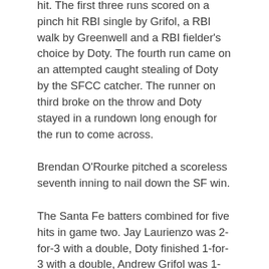hit. The first three runs scored on a pinch hit RBI single by Grifol, a RBI walk by Greenwell and a RBI fielder's choice by Doty. The fourth run came on an attempted caught stealing of Doty by the SFCC catcher. The runner on third broke on the throw and Doty stayed in a rundown long enough for the run to come across.
Brendan O'Rourke pitched a scoreless seventh inning to nail down the SF win.
The Santa Fe batters combined for five hits in game two. Jay Laurienzo was 2-for-3 with a double, Doty finished 1-for-3 with a double, Andrew Grifol was 1-for-1 with a RBI and Austin Lawrence was 1-for-2 with two runs scored.
The Saints continue their busy weekend with a game at home tomorrow, February 12 at 1:00 PM against Gulf